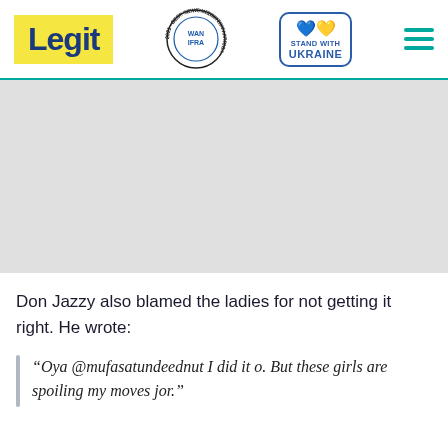Legit | WAN IFRA 2021 Best News Website in Africa | Stand with Ukraine
[Figure (other): Advertisement placeholder area (grey box)]
Don Jazzy also blamed the ladies for not getting it right. He wrote:
“Oya @mufasatundeednut I did it o. But these girls are spoiling my moves jor.”